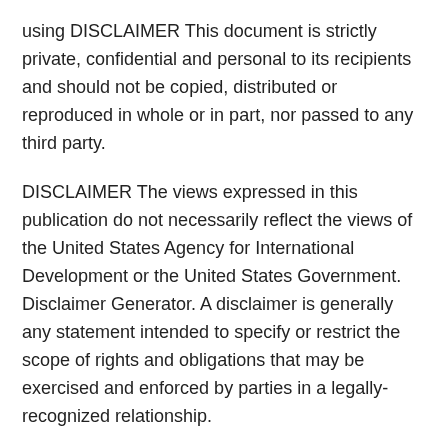using DISCLAIMER This document is strictly private, confidential and personal to its recipients and should not be copied, distributed or reproduced in whole or in part, nor passed to any third party.
DISCLAIMER The views expressed in this publication do not necessarily reflect the views of the United States Agency for International Development or the United States Government. Disclaimer Generator. A disclaimer is generally any statement intended to specify or restrict the scope of rights and obligations that may be exercised and enforced by parties in a legally-recognized relationship.
I am looking for a recording of a disclaimer for a product at the end of a TV or radio commercial. It's hard to explain, but it is when they speed up the narrators voice really fast and say things like, "Not available in all locations" or "for a limited time"